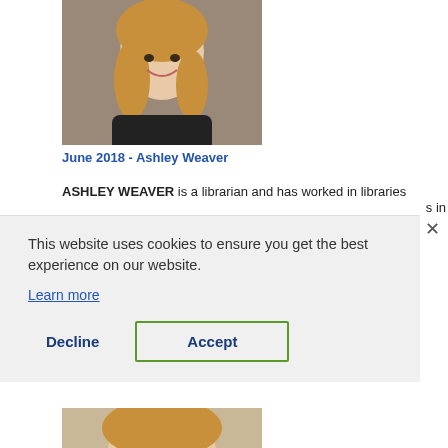[Figure (photo): Headshot of a young woman with long wavy blonde hair, smiling, wearing a dark top, brick wall background]
June 2018 - Ashley Weaver
ASHLEY WEAVER is a librarian and has worked in libraries … in
This website uses cookies to ensure you get the best experience on our website.
Learn more
Decline
Accept
[Figure (photo): Partial headshot of another person, cropped at bottom of page]